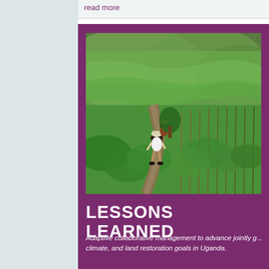read more
[Figure (photo): A person walking along a dirt path through lush green agricultural fields with terraced hills in the background in Uganda.]
LESSONS LEARNED
Adaptive collaborative management to advance jointly g... climate, and land restoration goals in Uganda.